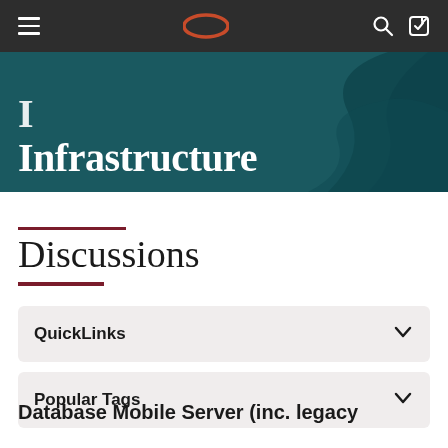Navigation bar with hamburger menu, Oracle logo, search and sign-in icons
Infrastructure
Discussions
QuickLinks
Popular Tags
Database Mobile Server (inc. legacy